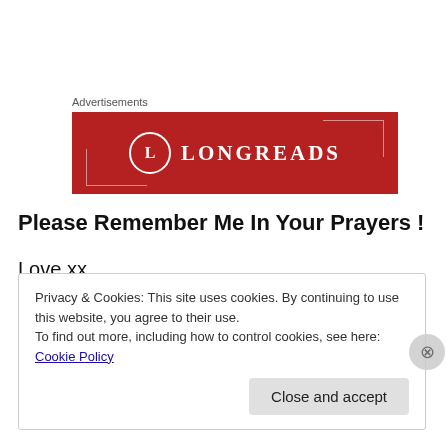Advertisements
[Figure (logo): Longreads advertisement banner with red background and circular L logo]
Please Remember Me In Your Prayers !
Love xx
Privacy & Cookies: This site uses cookies. By continuing to use this website, you agree to their use.
To find out more, including how to control cookies, see here: Cookie Policy
Close and accept